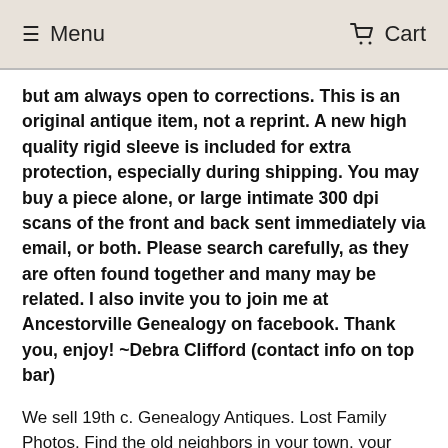Menu   Cart
but am always open to corrections. This is an original antique item, not a reprint. A new high quality rigid sleeve is included for extra protection, especially during shipping. You may buy a piece alone, or large intimate 300 dpi scans of the front and back sent immediately via email, or both. Please search carefully, as they are often found together and many may be related. I also invite you to join me at Ancestorville Genealogy on facebook. Thank you, enjoy! ~Debra Clifford (contact info on top bar)
We sell 19th c. Genealogy Antiques. Lost Family Photos. Find the old neighbors in your town, your state. Find your old family members, cousins,